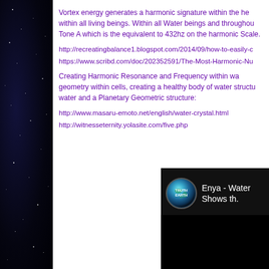Vortex energy generates a harmonic signature within the heart within all living beings. Within all Water beings and throughout Tone A which is the equivalent to 432hz on the harmonic Scale.
http://recreatingbalance1.blogspot.com/2014/09/how-to-easily-c
https://www.scribd.com/doc/202352591/The-Most-Harmonic-Nu
Creating Harmonic Resonance and Frequency within wa geometry within cells, creating a healthy body of water structu water and a Planetary Geometric structure:
http://www.masaru-emoto.net/english/water-crystal.html
http://witnesseternity.yolasite.com/five.php
[Figure (screenshot): Video thumbnail showing Truth Earth channel logo (blue marble) and text 'Enya - Water Shows th.' on dark/black background]